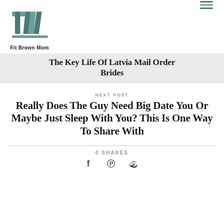[Figure (logo): Fit Brown Mom logo with stylized TW letters in teal/slate color and text below]
The Key Life Of Latvia Mail Order Brides
NEXT POST
Really Does The Guy Need Big Date You Or Maybe Just Sleep With You? This Is One Way To Share With
0 SHARES